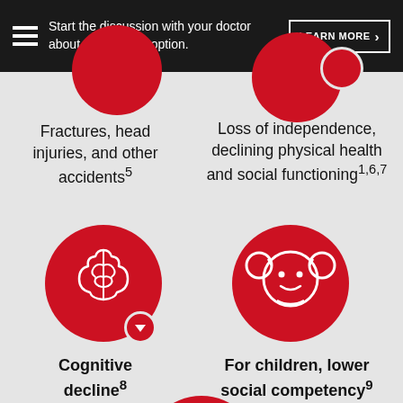Start the discussion with your doctor about a treatment option. LEARN MORE
Fractures, head injuries, and other accidents⁵
Loss of independence, declining physical health and social functioning¹ʸ⁶ʸ⁷
[Figure (illustration): Red circle icon with white brain graphic and a small red circle with down arrow badge, representing cognitive decline]
Cognitive decline⁸
[Figure (illustration): Red circle icon with white girl face graphic, representing social competency for children]
For children, lower social competency⁹
[Figure (illustration): Red circle icon with white heartbeat/EKG line graphic, representing sudden unexpected death]
Sudden unexpected death